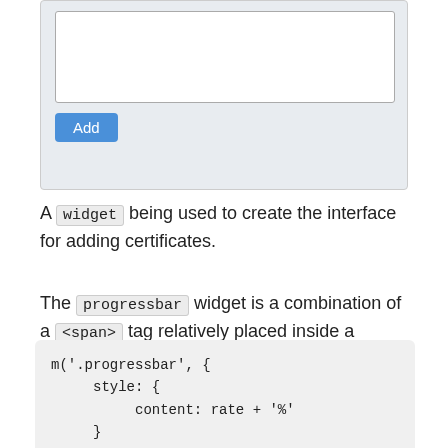[Figure (screenshot): A UI widget showing a textarea and an Add button, with a light blue-grey background panel.]
A widget being used to create the interface for adding certificates.
The progressbar widget is a combination of a <span> tag relatively placed inside a <div> tag using the block-inline display attribute. To create the progressbar in mithril, just use:
m('.progressbar', {
     style: {
          content: rate + '%'
     }
}, m('span.progress-status', {
     style: {
          width: rate + '%'